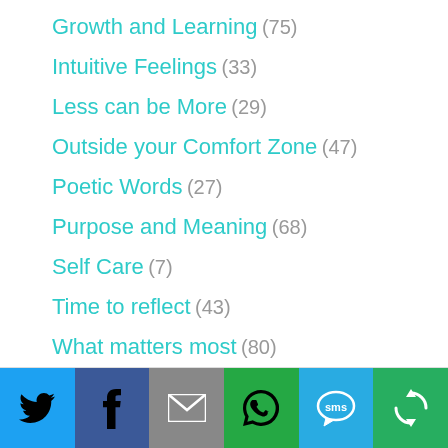Growth and Learning (75)
Intuitive Feelings (33)
Less can be More (29)
Outside your Comfort Zone (47)
Poetic Words (27)
Purpose and Meaning (68)
Self Care (7)
Time to reflect (43)
What matters most (80)
[Figure (infographic): Social sharing bar with icons for Twitter, Facebook, Email, WhatsApp, SMS, and a share/refresh icon on colored backgrounds (blue, dark blue, gray, green, light blue, green)]